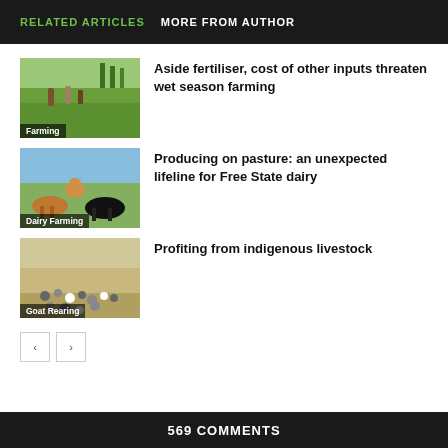RELATED ARTICLES   MORE FROM AUTHOR
[Figure (photo): Farmers working in a green paddy field, label: Farming]
Aside fertiliser, cost of other inputs threaten wet season farming
[Figure (photo): Cows on pasture, label: Dairy Farming]
Producing on pasture: an unexpected lifeline for Free State dairy
[Figure (photo): Goats and sheep on dry land, label: Goat Rearing]
Profiting from indigenous livestock
569 COMMENTS